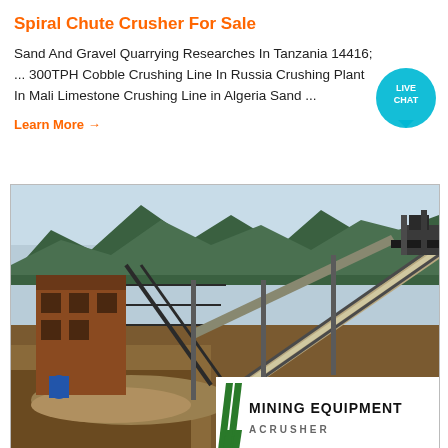Spiral Chute Crusher For Sale
Sand And Gravel Quarrying Researches In Tanzania 14416; ... 300TPH Cobble Crushing Line In Russia Crushing Plant In Mali Limestone Crushing Line in Algeria Sand ...
Learn More →
[Figure (photo): Industrial mining/crushing plant with conveyor belts, structural steel framework, and mountainous background. Mining Equipment ACRUSHER logo overlay in bottom right.]